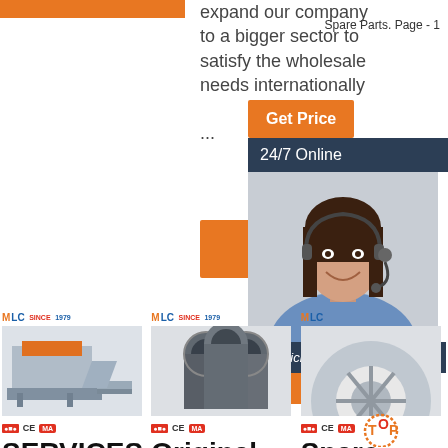Spare Parts. Page - 1
expand our company to a bigger sector to satisfy the wholesale needs internationally ...
[Figure (illustration): Get Price orange button in center column]
[Figure (illustration): Orange Get Price button and dark blue 24/7 Online chat widget with female agent photo, Click here for free chat, QUOTATION button]
[Figure (photo): MLC SINCE 1979 logo and product photo of metal pipe bending/straightening machine with conveyor]
[Figure (photo): MLC SINCE 1979 logo and product photo of steel tubes/pipes bundle]
[Figure (photo): MLC SINCE 1979 logo and partial product photo, with TOP icon overlay]
SERVICES & SPARE
Original Spare
Spare Parts -